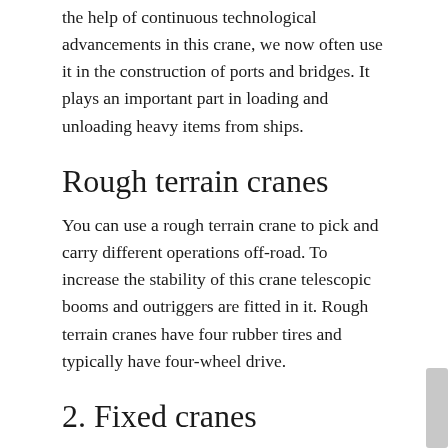the help of continuous technological advancements in this crane, we now often use it in the construction of ports and bridges. It plays an important part in loading and unloading heavy items from ships.
Rough terrain cranes
You can use a rough terrain crane to pick and carry different operations off-road. To increase the stability of this crane telescopic booms and outriggers are fitted in it. Rough terrain cranes have four rubber tires and typically have four-wheel drive.
2. Fixed cranes
Unlike mobile cranes, fixed cranes cannot move because they are fixed in one spot or location. The advantage of a fixed crane is that it can reach very